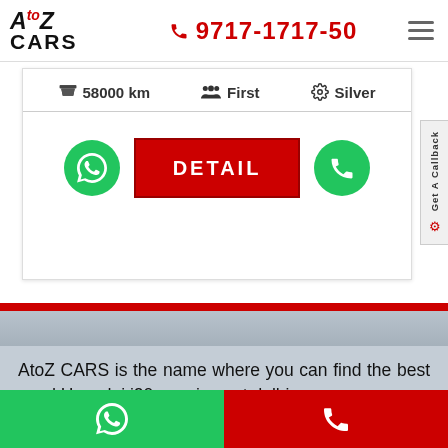AtoZ CARS | 9717-1717-50
58000 km | First | Silver
DETAIL
Get A Callback
AtoZ CARS is the name where you can find the best used Hyundai i20 cars in east delhi.
Here you can find all variations of used Hyundai i20 cars in